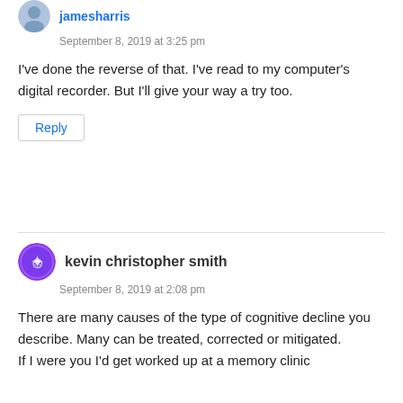jamesharris
September 8, 2019 at 3:25 pm
I've done the reverse of that. I've read to my computer's digital recorder. But I'll give your way a try too.
Reply
kevin christopher smith
September 8, 2019 at 2:08 pm
There are many causes of the type of cognitive decline you describe. Many can be treated, corrected or mitigated.
If I were you I'd get worked up at a memory clinic